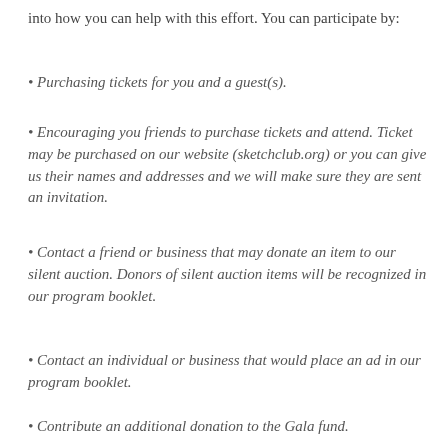into how you can help with this effort. You can participate by:
• Purchasing tickets for you and a guest(s).
• Encouraging you friends to purchase tickets and attend. Ticket may be purchased on our website (sketchclub.org) or you can give us their names and addresses and we will make sure they are sent an invitation.
• Contact a friend or business that may donate an item to our silent auction. Donors of silent auction items will be recognized in our program booklet.
• Contact an individual or business that would place an ad in our program booklet.
• Contribute an additional donation to the Gala fund.